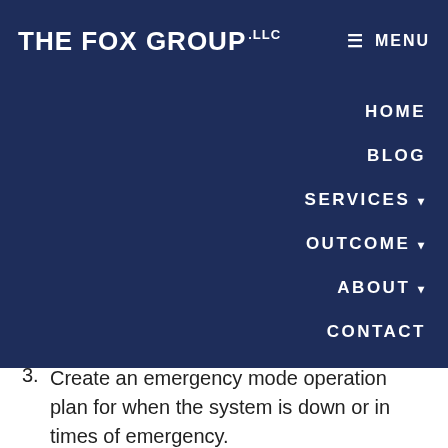THE FOX GROUP LLC | MENU
2. Have a disaster recovery plan to get back any PHI that should be available.
3. Create an emergency mode operation plan for when the system is down or in times of emergency.
HIPAA Risk Assessments — You must conduct ongoing risk assessments for your business. In